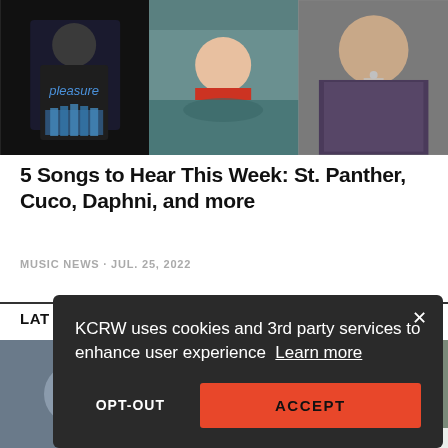[Figure (photo): Three-panel image strip: left panel shows a person in a black t-shirt with blue graphic print; center panel shows a person with blonde hair leaning against a car window in red; right panel shows a person with chain necklaces wearing a patterned jacket.]
5 Songs to Hear This Week: St. Panther, Cuco, Daphni, and more
MUSIC NEWS · JUL. 25, 2022
LAT
[Figure (photo): Partial bottom image strip showing three partial photo panels of people.]
KCRW uses cookies and 3rd party services to enhance user experience Learn more
OPT-OUT
ACCEPT
Your Privacy